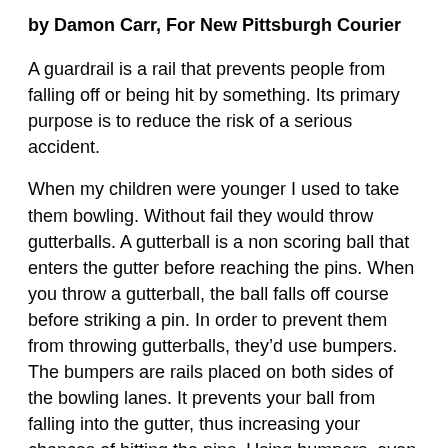by Damon Carr, For New Pittsburgh Courier
A guardrail is a rail that prevents people from falling off or being hit by something. Its primary purpose is to reduce the risk of a serious accident.
When my children were younger I used to take them bowling. Without fail they would throw gutterballs. A gutterball is a non scoring ball that enters the gutter before reaching the pins. When you throw a gutterball, the ball falls off course before striking a pin. In order to prevent them from throwing gutterballs, they’d use bumpers. The bumpers are rails placed on both sides of the bowling lanes. It prevents your ball from falling into the gutter, thus increasing your chances of hitting the pins. Using bumpers, even if the ball hits a guardrail, it will put the ball back on course, allowing them to hit one or more of the targeted pins.
As adults, the pins in the game of bowling represent